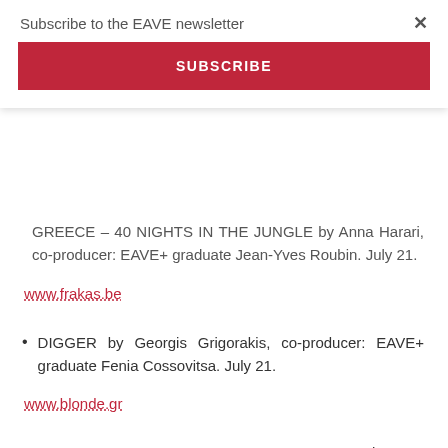Subscribe to the EAVE newsletter
SUBSCRIBE
GREECE – 40 NIGHTS IN THE JUNGLE by Anna Harari, co-producer: EAVE+ graduate Jean-Yves Roubin. July 21.
www.frakas.be
DIGGER by Georgis Grigorakis, co-producer: EAVE+ graduate Fenia Cossovitsa. July 21.
www.blonde.gr
THIS IS NOT A BURIAL, IT'S A RESURRECTION by